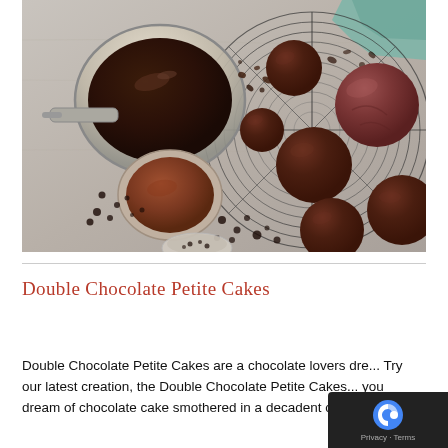[Figure (photo): Overhead view of chocolate petite cakes (cake balls/truffles) coated in chocolate ganache, arranged on a round wire cooling rack. A saucepan with melted chocolate and a small measuring cup with cocoa powder are visible, along with scattered cocoa nibs and cacao pieces on a marble/stone surface. A teal cloth napkin is visible in the top right corner.]
Double Chocolate Petite Cakes
Double Chocolate Petite Cakes are a chocolate lovers dre... Try our latest creation, the Double Chocolate Petite Cakes... you dream of chocolate cake smothered in a decadent chocolaty